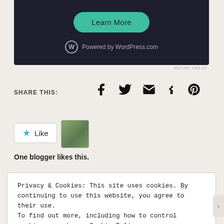[Figure (screenshot): Dark ad banner with teal 'Learn More' rounded button and 'Powered by WordPress.com' text with WordPress logo]
REPORT THIS AD
SHARE THIS:
[Figure (infographic): Social share icons: Facebook, Twitter, Email, Tumblr, Pinterest]
[Figure (photo): Like button with star icon and blogger avatar thumbnail]
One blogger likes this.
Privacy & Cookies: This site uses cookies. By continuing to use this website, you agree to their use.
To find out more, including how to control cookies, see here: Cookie Policy
Close and accept